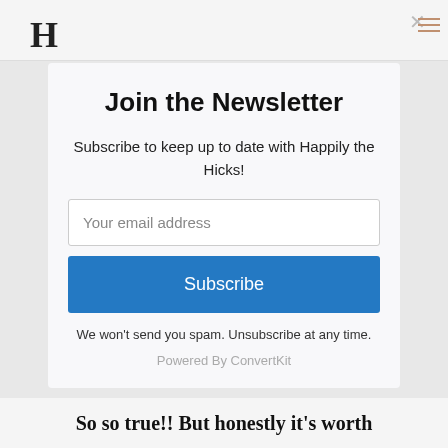H
Join the Newsletter
Subscribe to keep up to date with Happily the Hicks!
Your email address
Subscribe
We won't send you spam. Unsubscribe at any time.
Powered By ConvertKit
So so true!! But honestly it's worth